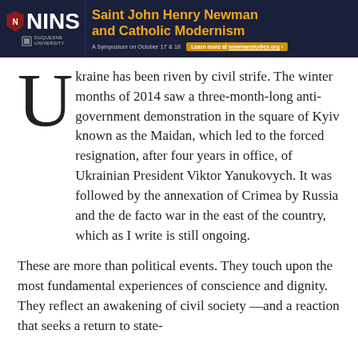[Figure (other): NINS and Duquesne University banner advertisement for 'Saint John Henry Newman and Catholic Modernism' symposium on October 17 & 18, with link to newmanstudies.org]
Ukraine has been riven by civil strife. The winter months of 2014 saw a three-month-long anti-government demonstration in the square of Kyiv known as the Maidan, which led to the forced resignation, after four years in office, of Ukrainian President Viktor Yanukovych. It was followed by the annexation of Crimea by Russia and the de facto war in the east of the country, which as I write is still ongoing.
These are more than political events. They touch upon the most fundamental experiences of conscience and dignity. They reflect an awakening of civil society —and a reaction that seeks a return to state-